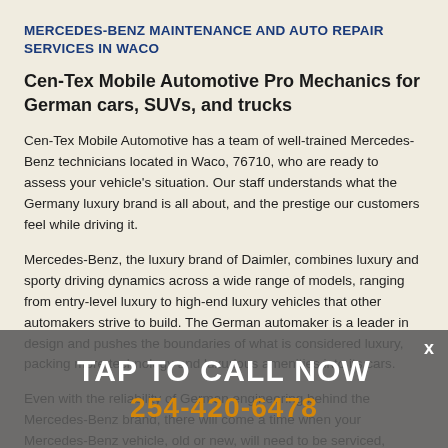MERCEDES-BENZ MAINTENANCE AND AUTO REPAIR SERVICES IN WACO
Cen-Tex Mobile Automotive Pro Mechanics for German cars, SUVs, and trucks
Cen-Tex Mobile Automotive has a team of well-trained Mercedes-Benz technicians located in Waco, 76710, who are ready to assess your vehicle's situation. Our staff understands what the Germany luxury brand is all about, and the prestige our customers feel while driving it.
Mercedes-Benz, the luxury brand of Daimler, combines luxury and sporty driving dynamics across a wide range of models, ranging from entry-level luxury to high-end luxury vehicles that other automakers strive to build. The German automaker is a leader in design and pushes the boundaries of what is considered luxury, packing more technology and luxurious amenities into its cars.
Even with the reliability of German engineering behind the Mercedes-Benz brand, there will come a time when your Mercedes-Benz vehicle, old or new, will need to be serviced, whether for regular maintenance or for some other service
[Figure (infographic): Gray semi-transparent overlay CTA banner at bottom with 'TAP TO CALL NOW' in white bold text and '254-420-6478' in orange bold text, with an X close button in the top right corner]